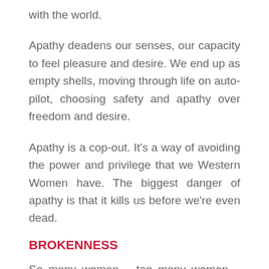with the world.
Apathy deadens our senses, our capacity to feel pleasure and desire. We end up as empty shells, moving through life on auto-pilot, choosing safety and apathy over freedom and desire.
Apathy is a cop-out. It’s a way of avoiding the power and privilege that we Western Women have. The biggest danger of apathy is that it kills us before we’re even dead.
BROKENNESS
So many women – too many women – make the mistake of believing they are broken. They